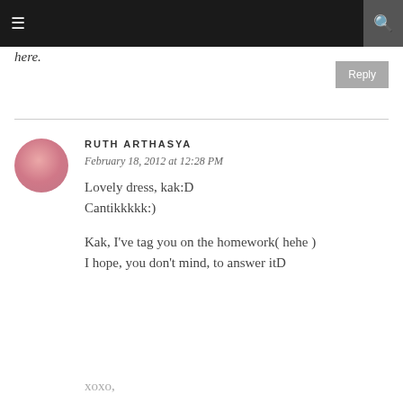≡  [navigation bar with search icon]
here.
Reply
RUTH ARTHASYA
February 18, 2012 at 12:28 PM
Lovely dress, kak:D
Cantikkkkk:)
Kak, I've tag you on the homework( hehe )
I hope, you don't mind, to answer itD
xoxo,